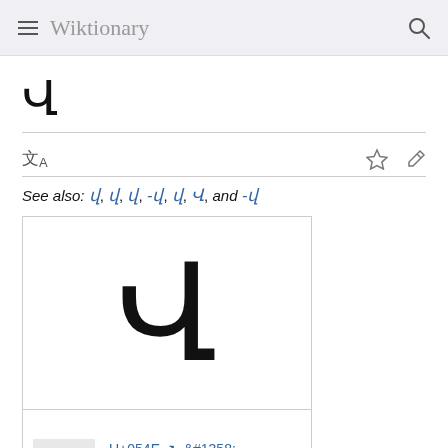Wiktionary
Վ
See also: վ, վ, վ, -վ, վ, Վ, and -վ
[Figure (illustration): Large rendering of Armenian capital letter Vew (Վ) shown in black on white background, with a smaller thumbnail version below alongside Unicode code point U+054E and character name ARMENIAN CAPITAL LETTER VEW]